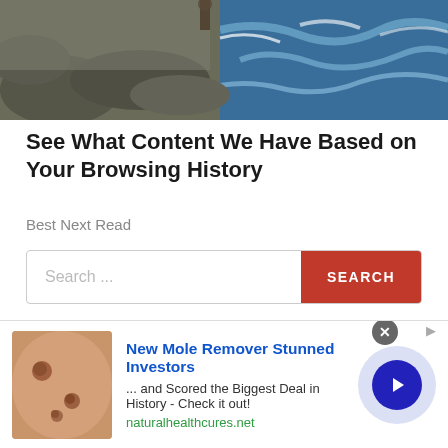[Figure (photo): Coastal scene: rocky shoreline with ocean waves in background, person partially visible at top]
See What Content We Have Based on Your Browsing History
Best Next Read
[Figure (screenshot): Search bar with placeholder text 'Search...' and a red SEARCH button]
[Figure (other): Advertisement: New Mole Remover Stunned Investors - ... and Scored the Biggest Deal in History - Check it out! naturalhealthcures.net with mole/skin image and arrow button]